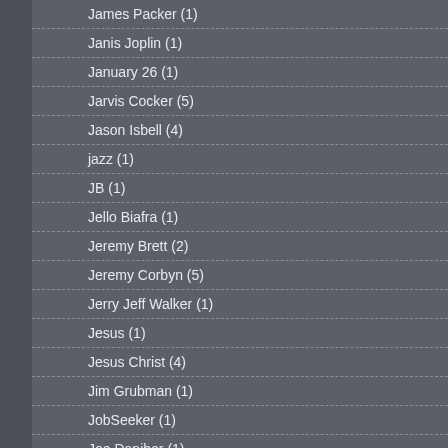James Packer (1)
Janis Joplin (1)
January 26 (1)
Jarvis Cocker (5)
Jason Isbell (4)
jazz (1)
JB (1)
Jello Biafra (1)
Jeremy Brett (2)
Jeremy Corbyn (5)
Jerry Jeff Walker (1)
Jesus (1)
Jesus Christ (4)
Jim Grubman (1)
JobSeeker (1)
Joe Daniher (1)
Joe the Plumber (1)